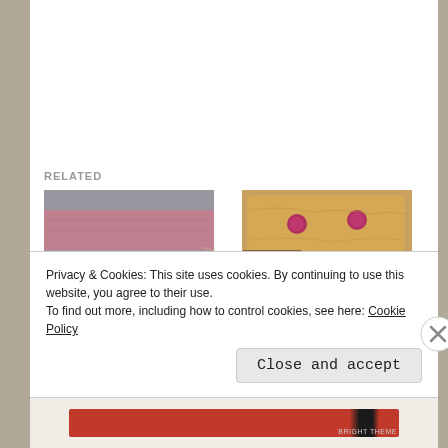RELATED
[Figure (photo): Knitted fabric swatch showing grey and pink/mauve horizontal stripes]
Love that huck
May 18, 2016
[Figure (photo): Golden baked cookie or pastry with two red/berry centres, one piece broken off]
Filling my Days
April 23, 2020
Privacy & Cookies: This site uses cookies. By continuing to use this website, you agree to their use.
To find out more, including how to control cookies, see here: Cookie Policy
Close and accept